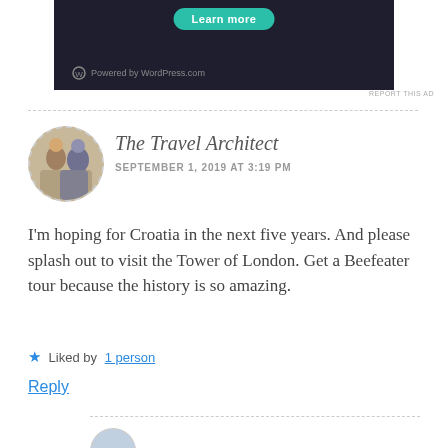[Figure (screenshot): Dark banner ad showing a teal 'Learn more' button and 'Powered by WordPress.com' text with WordPress logo]
REPORT THIS AD
The Travel Architect
SEPTEMBER 1, 2019 AT 3:19 PM
I'm hoping for Croatia in the next five years. And please splash out to visit the Tower of London. Get a Beefeater tour because the history is so amazing.
★ Liked by 1 person
Reply